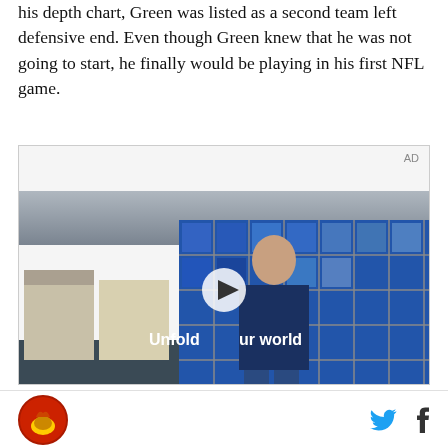his depth chart, Green was listed as a second team left defensive end. Even though Green knew that he was not going to start, he finally would be playing in his first NFL game.
[Figure (screenshot): Advertisement video player showing a young man standing in front of a blue tiled wall, with text 'Unfold your world' and a play button overlay. AD label in top right corner.]
Site logo (red horse icon) on left; Twitter and Facebook social icons on right